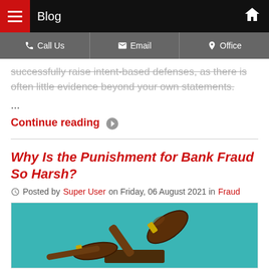Blog
Call Us | Email | Office
successfully raise intent-based defenses, as there is often little evidence beyond your own statements.
...
Continue reading
Why Is the Punishment for Bank Fraud So Harsh?
Posted by Super User on Friday, 06 August 2021 in Fraud
[Figure (photo): Photo of a judge's gavel on a teal/blue background]